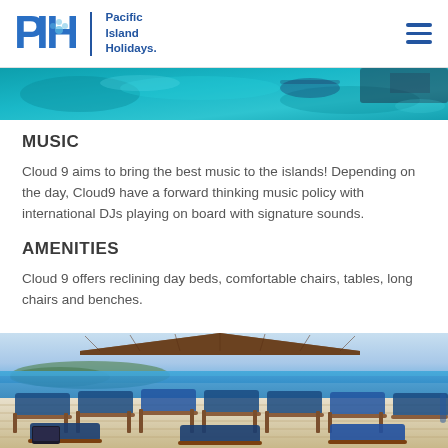Pacific Island Holidays.
[Figure (photo): Aerial/overhead view of turquoise water with a swimmer or snorkeler visible, partially cropped at top of page]
MUSIC
Cloud 9 aims to bring the best music to the islands! Depending on the day, Cloud9 have a forward thinking music policy with international DJs playing on board with signature sounds.
AMENITIES
Cloud 9 offers reclining day beds, comfortable chairs, tables, long chairs and benches.
[Figure (photo): Photo of a wooden deck/platform over water with blue reclining lounge chairs arranged in rows, with a thatched-roof structure visible and water and island in the background]